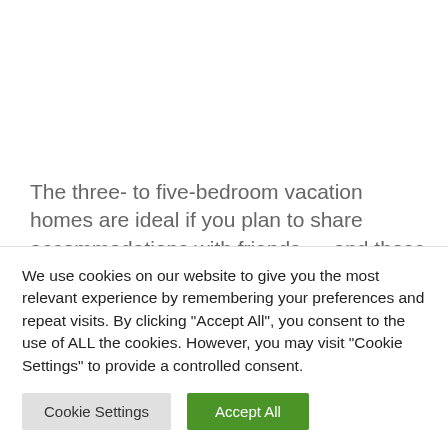The three- to five-bedroom vacation homes are ideal if you plan to share accommodations with friends — and those do come with TVs, microwaves, dishwashers and a deck or patio.
In the buffet-style dining room, large communal tables...
We use cookies on our website to give you the most relevant experience by remembering your preferences and repeat visits. By clicking "Accept All", you consent to the use of ALL the cookies. However, you may visit "Cookie Settings" to provide a controlled consent.